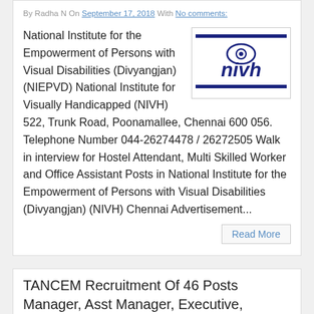By Radha N On September 17, 2018 With No comments:
[Figure (logo): NIVH logo with eye symbol and bold blue text 'nivh' with horizontal blue lines above and below]
National Institute for the Empowerment of Persons with Visual Disabilities (Divyangjan) (NIEPVD) National Institute for Visually Handicapped (NIVH) 522, Trunk Road, Poonamallee, Chennai 600 056. Telephone Number 044-26274478 / 26272505 Walk in interview for Hostel Attendant, Multi Skilled Worker and Office Assistant Posts in National Institute for the Empowerment of Persons with Visual Disabilities (Divyangjan) (NIVH) Chennai Advertisement...
Read More
TANCEM Recruitment Of 46 Posts Manager, Asst Manager, Executive, Accountant, Electrician, PA, JA...